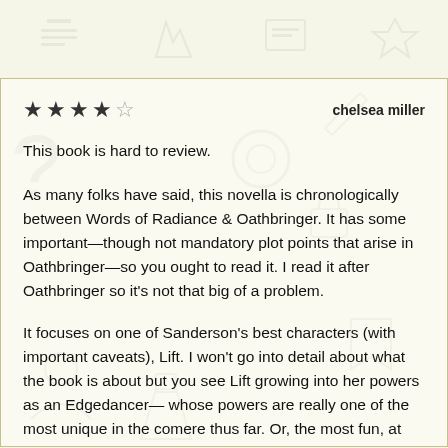★ ★ ★ ★ ☆     chelsea miller
This book is hard to review.
As many folks have said, this novella is chronologically between Words of Radiance & Oathbringer. It has some important—though not mandatory plot points that arise in Oathbringer—so you ought to read it. I read it after Oathbringer so it's not that big of a problem.
It focuses on one of Sanderson's best characters (with important caveats), Lift. I won't go into detail about what the book is about but you see Lift growing into her powers as an Edgedancer— whose powers are really one of the most unique in the comere thus far. Or, the most fun, at least. I love that her focus is on the